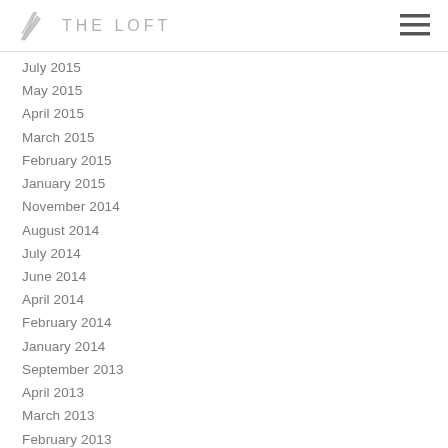THE LOFT
July 2015
May 2015
April 2015
March 2015
February 2015
January 2015
November 2014
August 2014
July 2014
June 2014
April 2014
February 2014
January 2014
September 2013
April 2013
March 2013
February 2013
January 2013
December 2012
November 2012